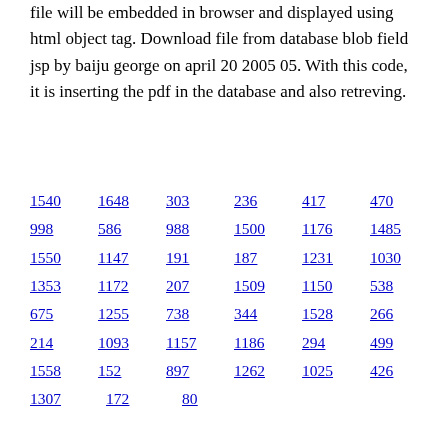file will be embedded in browser and displayed using html object tag. Download file from database blob field jsp by baiju george on april 20 2005 05. With this code, it is inserting the pdf in the database and also retreving.
1540  1648  303  236  417  470
998  586  988  1500  1176  1485
1550  1147  191  187  1231  1030
1353  1172  207  1509  1150  538
675  1255  738  344  1528  266
214  1093  1157  1186  294  499
1558  152  897  1262  1025  426
1307  172  80